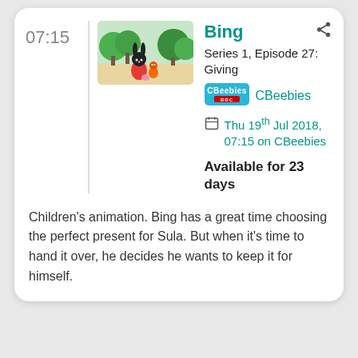07:15
[Figure (illustration): Thumbnail image from the children's animation Bing, showing Bing (a black rabbit character in a red outfit) and Flop (small orange character) in a park setting with green trees in the background.]
Bing
Series 1, Episode 27: Giving
[Figure (logo): CBeebies BBC logo badge]
CBeebies
Thu 19th Jul 2018, 07:15 on CBeebies
Available for 23 days
Children's animation. Bing has a great time choosing the perfect present for Sula. But when it's time to hand it over, he decides he wants to keep it for himself.